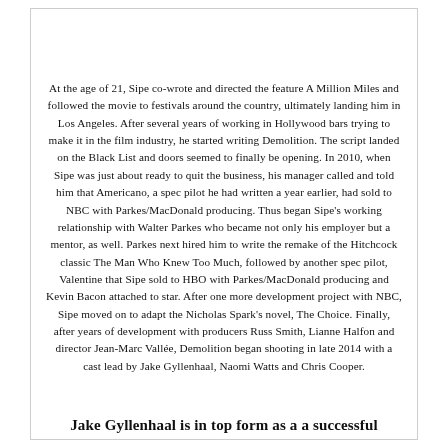At the age of 21, Sipe co-wrote and directed the feature A Million Miles and followed the movie to festivals around the country, ultimately landing him in Los Angeles. After several years of working in Hollywood bars trying to make it in the film industry, he started writing Demolition. The script landed on the Black List and doors seemed to finally be opening. In 2010, when Sipe was just about ready to quit the business, his manager called and told him that Americano, a spec pilot he had written a year earlier, had sold to NBC with Parkes/MacDonald producing. Thus began Sipe's working relationship with Walter Parkes who became not only his employer but a mentor, as well. Parkes next hired him to write the remake of the Hitchcock classic The Man Who Knew Too Much, followed by another spec pilot, Valentine that Sipe sold to HBO with Parkes/MacDonald producing and Kevin Bacon attached to star. After one more development project with NBC, Sipe moved on to adapt the Nicholas Spark's novel, The Choice. Finally, after years of development with producers Russ Smith, Lianne Halfon and director Jean-Marc Vallée, Demolition began shooting in late 2014 with a cast lead by Jake Gyllenhaal, Naomi Watts and Chris Cooper.
Jake Gyllenhaal is in top form as a a successful